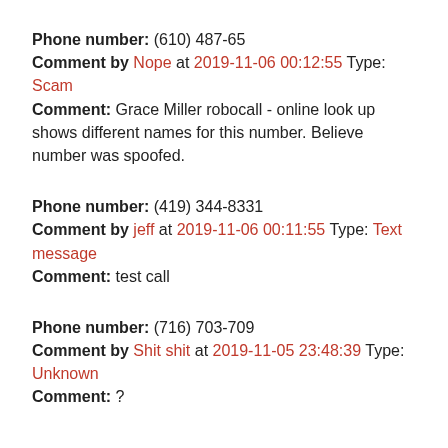Phone number: (610) 487-65
Comment by Nope at 2019-11-06 00:12:55 Type: Scam
Comment: Grace Miller robocall - online look up shows different names for this number. Believe number was spoofed.
Phone number: (419) 344-8331
Comment by jeff at 2019-11-06 00:11:55 Type: Text message
Comment: test call
Phone number: (716) 703-709
Comment by Shit shit at 2019-11-05 23:48:39 Type: Unknown
Comment: ?